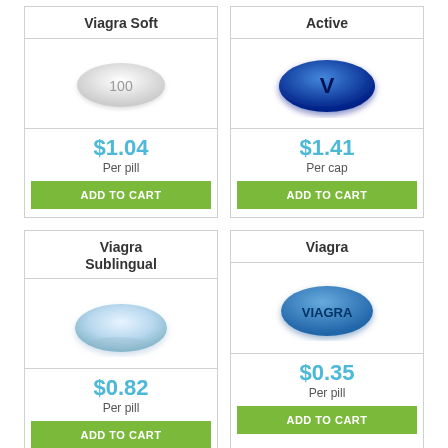Viagra Soft
[Figure (photo): White oval pill labeled 100]
$1.04
Per pill
ADD TO CART
Active
[Figure (photo): Dark blue oval capsule with V logo]
$1.41
Per cap
ADD TO CART
Viagra Sublingual
[Figure (photo): Light blue oval sublingual pill]
$0.82
Per pill
ADD TO CART
Viagra
[Figure (photo): Blue diamond-shaped Viagra pill with VIAGRA text]
$0.35
Per pill
ADD TO CART